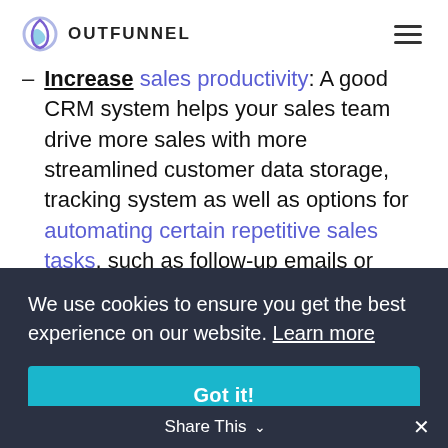OUTFUNNEL
Increase sales productivity: A good CRM system helps your sales team drive more sales with more streamlined customer data storage, tracking system as well as options for automating certain repetitive sales tasks, such as follow-up emails or...
We use cookies to ensure you get the best experience on our website. Learn more
Got it!
notifications of key customer